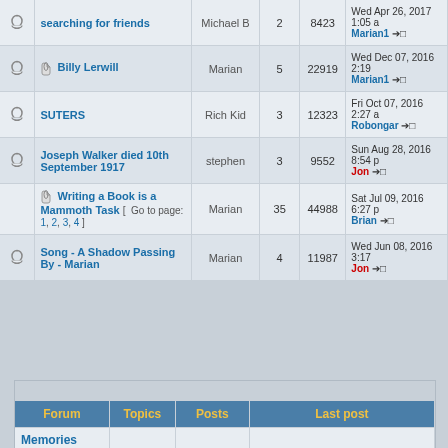|  | Topic | Author | Replies | Views | Last post |
| --- | --- | --- | --- | --- | --- |
| 🔔 | searching for friends | Michael B | 2 | 8423 | Wed Apr 26, 2017 1:05 a Marian1 →□ |
| 🔔 | 📎 Billy Lerwill | Marian | 5 | 22919 | Wed Dec 07, 2016 2:19 Marian1 →□ |
| 🔔 | SUTERS | Rich Kid | 3 | 12323 | Fri Oct 07, 2016 2:27 a Robongar →□ |
| 🔔 | Joseph Walker died 10th September 1917 | stephen | 3 | 9552 | Sun Aug 28, 2016 8:54 p Jon →□ |
|  | 📎 Writing a Book is a Mammoth Task [ Go to page: 1, 2, 3, 4 ] | Marian | 35 | 44988 | Sat Jul 09, 2016 6:27 p Brian →□ |
| 🔔 | Song - A Shadow Passing By - Marian | Marian | 4 | 11987 | Wed Jun 08, 2016 3:17 Jon →□ |
|  | Forum | Topics | Posts | Last post |
| --- | --- | --- | --- | --- |
|  | Memories
Feel free to reminisce here |  |  |  |